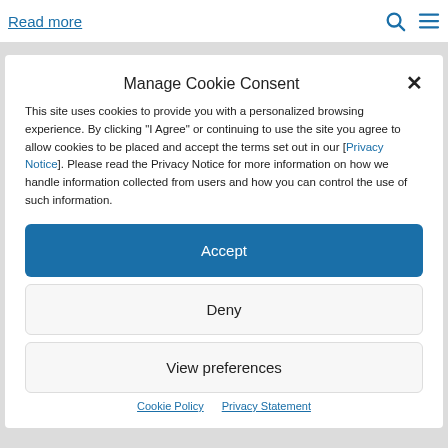Read more
Manage Cookie Consent
This site uses cookies to provide you with a personalized browsing experience. By clicking "I Agree" or continuing to use the site you agree to allow cookies to be placed and accept the terms set out in our [Privacy Notice]. Please read the Privacy Notice for more information on how we handle information collected from users and how you can control the use of such information.
Accept
Deny
View preferences
Cookie Policy  Privacy Statement